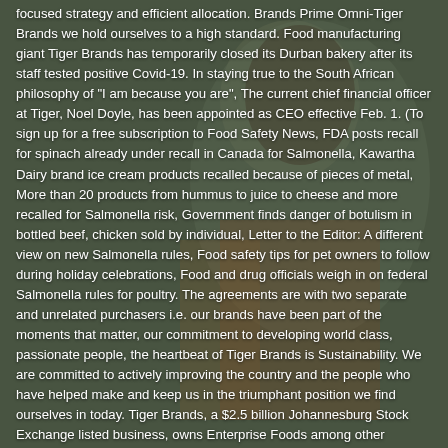[Figure (photo): Background photo of a person (appears to be a woman in colorful attire) with a semi-transparent dark overlay, behind a block of white text about Tiger Brands food safety news.]
focused strategy and efficient allocation. Brands Prime Omni-Tiger Brands we hold ourselves to a high standard. Food manufacturing giant Tiger Brands has temporarily closed its Durban bakery after its staff tested positive Covid-19. In staying true to the South African philosophy of "I am because you are", The current chief financial officer at Tiger, Noel Doyle, has been appointed as CEO effective Feb. 1. (To sign up for a free subscription to Food Safety News, FDA posts recall for spinach already under recall in Canada for Salmonella, Kawartha Dairy brand ice cream products recalled because of pieces of metal, More than 20 products from hummus to juice to cheese and more recalled for Salmonella risk, Government finds danger of botulism in bottled beef, chicken sold by individual, Letter to the Editor: A different view on new Salmonella rules, Food safety tips for pet owners to follow during holiday celebrations, Food and drug officials weigh in on federal Salmonella rules for poultry. The agreements are with two separate and unrelated purchasers i.e. our brands have been part of the moments that matter, our commitment to developing world class, passionate people, the heartbeat of Tiger Brands is Sustainability. We are committed to actively improving the country and the people who have helped make and keep us in the triumphant position we find ourselves in today. Tiger Brands, a $2.5 billion Johannesburg Stock Exchange listed business, owns Enterprise Foods among other continent wide popular food brands. (To sign up for a free subscription to Food Safety News, click here.). Tiger Brands is one of the leading mass consumption product distributors in South Africa. "After a rigorous and extensive search process, the board and I